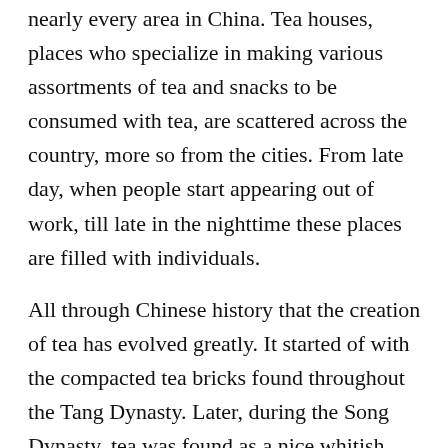nearly every area in China. Tea houses, places who specialize in making various assortments of tea and snacks to be consumed with tea, are scattered across the country, more so from the cities. From late day, when people start appearing out of work, till late in the nighttime these places are filled with individuals.
All through Chinese history that the creation of tea has evolved greatly. It started of with the compacted tea bricks found throughout the Tang Dynasty. Later, during the Song Dynasty, tea was found as a nice whitish powder. This was the period when a terrific development took place in the creation of White Tea. The tradition of making a cup of tea from loose leaf tea took place inside the fourteenth century during the Ming Dynasty whenever a royal proclamation was issued to say that tea could be considered tribute as long as given from the loose leaf form. The majority of the